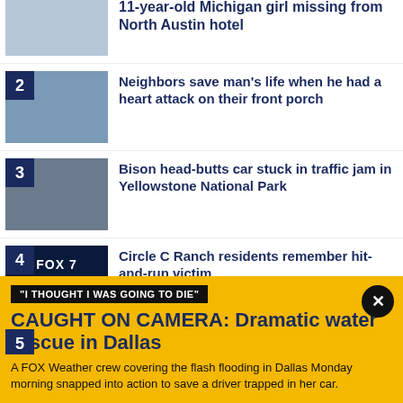11-year-old Michigan girl missing from North Austin hotel
Neighbors save man's life when he had a heart attack on their front porch
Bison head-butts car stuck in traffic jam in Yellowstone National Park
Circle C Ranch residents remember hit-and-run victim
5 (partial)
"I THOUGHT I WAS GOING TO DIE"
CAUGHT ON CAMERA: Dramatic water rescue in Dallas
A FOX Weather crew covering the flash flooding in Dallas Monday morning snapped into action to save a driver trapped in her car.